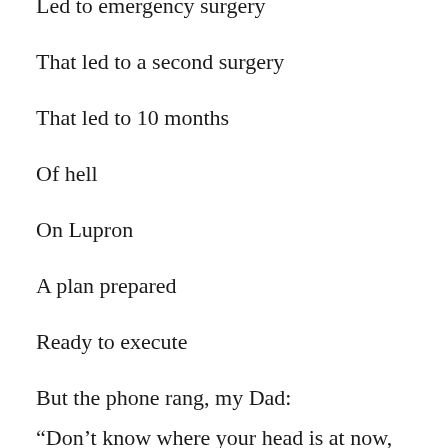Led to emergency surgery
That led to a second surgery
That led to 10 months
Of hell
On Lupron
A plan prepared
Ready to execute
But the phone rang, my Dad:
“Don’t know where your head is at now, but